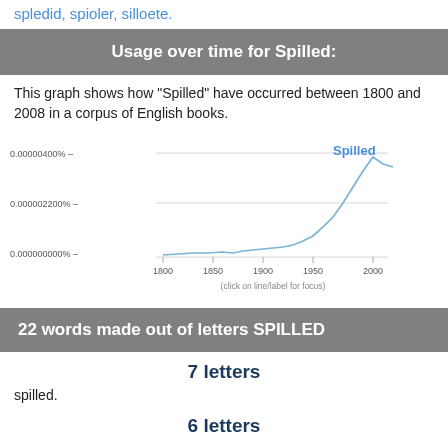spledid, spioler, silloete.
Usage over time for Spilled:
This graph shows how "Spilled" have occurred between 1800 and 2008 in a corpus of English books.
[Figure (continuous-plot): Line chart showing usage frequency of 'Spilled' over time from 1800 to 2000, with y-axis showing percentages from 0.000000000% to 0.00000400%, and a rising trend especially after 1950, labeled 'Spilled' in blue at the top right. X-axis caption reads '(click on line/label for focus)']
22 words made out of letters SPILLED
7 letters
spilled.
6 letters